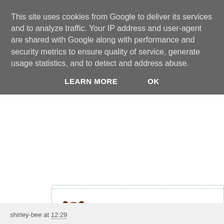This site uses cookies from Google to deliver its services and to analyze traffic. Your IP address and user-agent are shared with Google along with performance and security metrics to ensure quality of service, generate usage statistics, and to detect and address abuse.
LEARN MORE    OK
[Figure (logo): SimonSaysStamp.com Monday Challenge BLOG banner in gold/yellow colors]
[Figure (illustration): $50 Gift Voucher to SimonSaysStamp.com with cartoon dog mascot holding a teal bag]
shirley-bee at 12:29